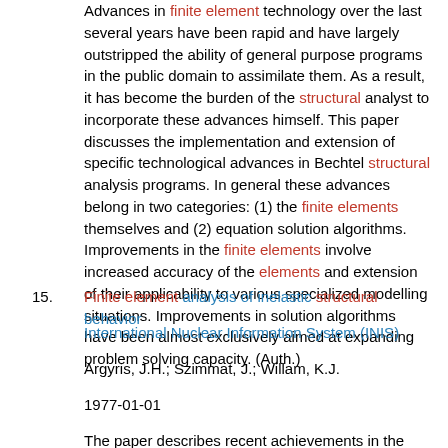Advances in finite element technology over the last several years have been rapid and have largely outstripped the ability of general purpose programs in the public domain to assimilate them. As a result, it has become the burden of the structural analyst to incorporate these advances himself. This paper discusses the implementation and extension of specific technological advances in Bechtel structural analysis programs. In general these advances belong in two categories: (1) the finite elements themselves and (2) equation solution algorithms. Improvements in the finite elements involve increased accuracy of the elements and extension of their applicability to various specialized modelling situations. Improvements in solution algorithms have been almost exclusively aimed at expanding problem solving capacity. (Auth.)
15. Finite element analysis of inelastic structural behavior
International Nuclear Information System (INIS)
Argyris, J.H.; Szimmat, J.; Willam, K.J.
1977-01-01
The paper describes recent achievements in the finite element